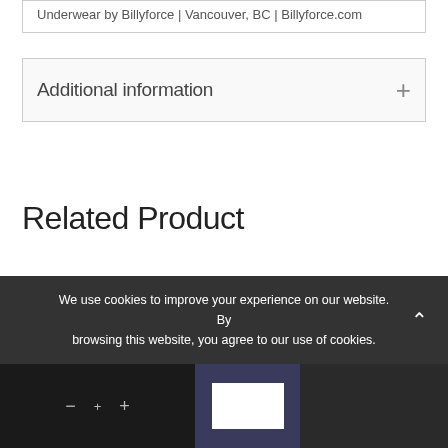Underwear by Billyforce | Vancouver, BC | Billyforce.com
Additional information
Related Product
We use cookies to improve your experience on our website. By browsing this website, you agree to our use of cookies.